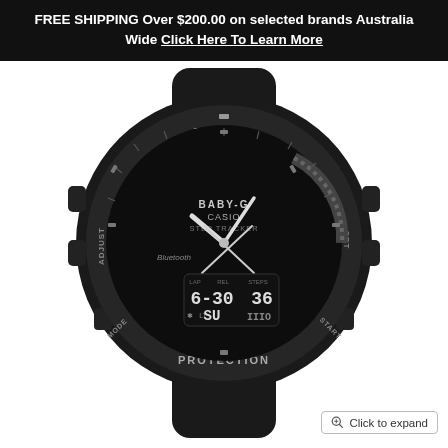FREE SHIPPING Over $200.00 on selected brands Australia Wide Click Here To Learn More
[Figure (photo): Casio Baby-G Step Tracker Bluetooth black sport watch with analog and digital display. Text on watch face: BABY-G, CASIO, STEP TRACKER, Bluetooth. Text on bezel: BABY-G (top), PROTECTION (bottom), ADJUST (left), SET (right), MODE (bottom-left), START (bottom-right). Digital display shows 6-30 36 SU.]
Click to expand